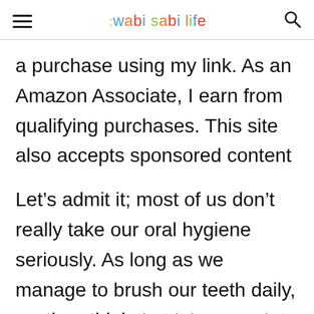≡  :wabi sabi life  🔍
a purchase using my link. As an Amazon Associate, I earn from qualifying purchases. This site also accepts sponsored content
Let's admit it; most of us don't really take our oral hygiene seriously. As long as we manage to brush our teeth daily, we then think that it is enough to keep our teeth healthy. when in fact it is barely